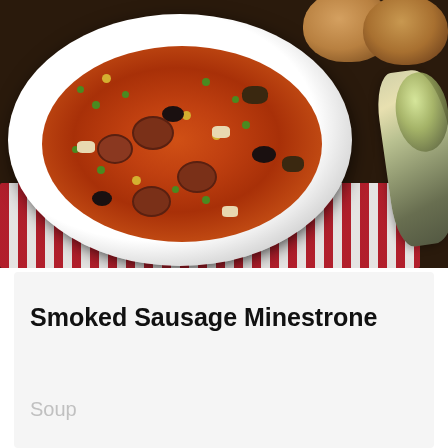[Figure (photo): A white bowl of smoked sausage minestrone soup with a red-and-white striped cloth beneath it, a silver spoon to the right, and bread rolls in the background on a dark wooden surface.]
Smoked Sausage Minestrone
Soup